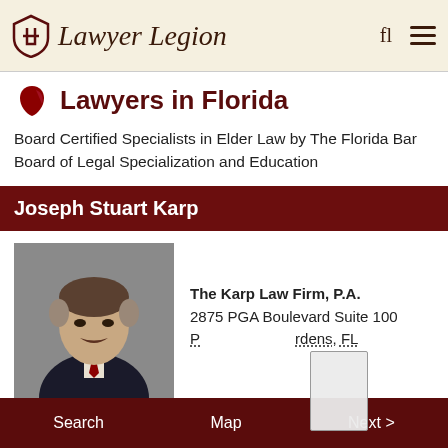Lawyer Legion
Lawyers in Florida
Board Certified Specialists in Elder Law by The Florida Bar Board of Legal Specialization and Education
Joseph Stuart Karp
[Figure (photo): Headshot of Joseph Stuart Karp, a middle-aged man in a dark suit with a red tie, gray-brown hair and mustache, against a gray background]
The Karp Law Firm, P.A.
2875 PGA Boulevard Suite 100
Palm Beach Gardens, FL
Search   Map   Next >